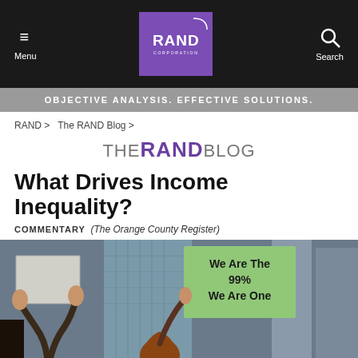Menu | RAND Corporation | Search
OBJECTIVE ANALYSIS. EFFECTIVE SOLUTIONS.
RAND > The RAND Blog >
THE RAND BLOG
What Drives Income Inequality?
COMMENTARY (The Orange County Register)
[Figure (photo): Protesters holding signs including one that reads 'We Are The 99% We Are One' in an urban setting with tall buildings in background.]